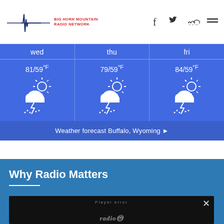Big Horn Mountain Radio Network - header with logo and social icons
[Figure (infographic): 3-day weather forecast widget for Buffalo, Wyoming showing Wed 81/59°F, Thu 79/59°F, Fri 84/59°F with thunderstorm icons]
Weather forecast Buffalo, Wyoming ►
Why Radio Matters
[Figure (screenshot): Video player area showing player error with radio logo, dark background with close button X]